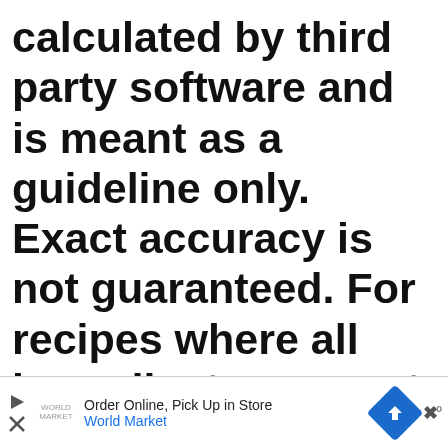calculated by third party software and is meant as a guideline only. Exact accuracy is not guaranteed. For recipes where all ingredients may not be used entirely, such as those with coatings on meats, or with sauces or dressings for example, calorie & nutritional values per serving will like somewhat lower than indicated.
[Figure (screenshot): UI overlay showing a red heart/favorite button with count 3.2K and a share button]
[Figure (screenshot): What's Next panel showing Glazed Lemon Pound Cake thumbnail with arrow label]
[Figure (screenshot): Advertisement bar at bottom: Order Online, Pick Up in Store - World Market, with navigation arrow icon and brand logo]